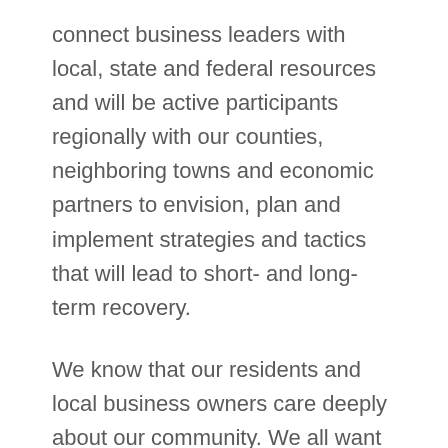connect business leaders with local, state and federal resources and will be active participants regionally with our counties, neighboring towns and economic partners to envision, plan and implement strategies and tactics that will lead to short- and long-term recovery.
We know that our residents and local business owners care deeply about our community. We all want what’s best for Basalt and the Roaring Fork Valley. We look forward to working with all members of the Basalt community to emerge from the coronavirus crisis with the tools to stay healthy and to build a strong and resilient